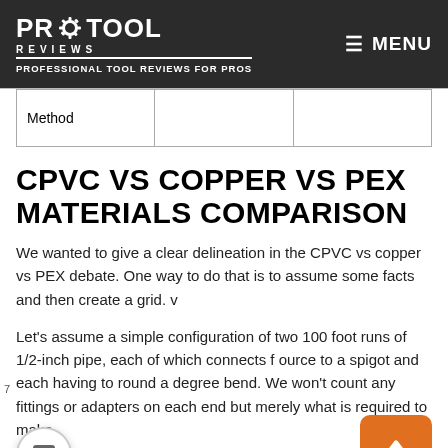PRO TOOL REVIEWS — PROFESSIONAL TOOL REVIEWS FOR PROS | MENU
| Method |  |  |
| --- | --- | --- |
| Method |  |  |
CPVC VS COPPER VS PEX MATERIALS COMPARISON
We wanted to give a clear delineation in the CPVC vs copper vs PEX debate. One way to do that is to assume some facts and then create a grid. v
Let's assume a simple configuration of two 100 foot runs of 1/2-inch pipe, each of which connects f ource to a spigot and each having to round a degree bend. We won't count any fittings or adapters on each end but merely what is required to make